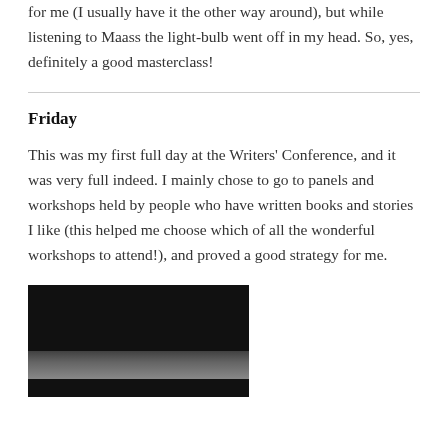for me (I usually have it the other way around), but while listening to Maass the light-bulb went off in my head. So, yes, definitely a good masterclass!
Friday
This was my first full day at the Writers' Conference, and it was very full indeed. I mainly chose to go to panels and workshops held by people who have written books and stories I like (this helped me choose which of all the wonderful workshops to attend!), and proved a good strategy for me.
[Figure (photo): A dark photograph, mostly black background with a light-colored surface visible at the bottom, taken at the Writers' Conference.]